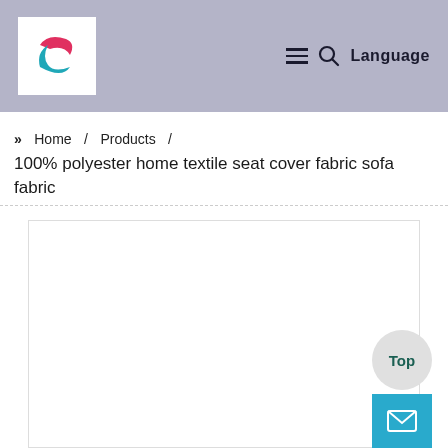Logo | ≡ 🔍 Language
» Home / Products /
100% polyester home textile seat cover fabric sofa fabric
[Figure (photo): Product image area — white empty box placeholder for product photo]